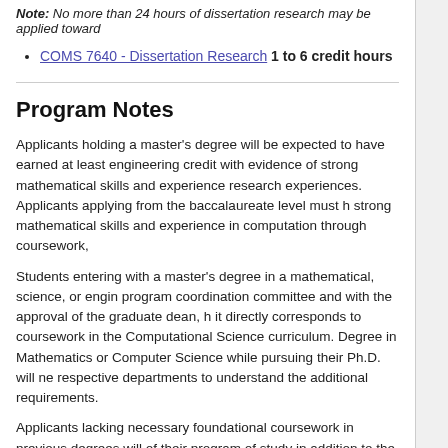Note: No more than 24 hours of dissertation research may be applied toward
COMS 7640 - Dissertation Research 1 to 6 credit hours
Program Notes
Applicants holding a master's degree will be expected to have earned at least engineering credit with evidence of strong mathematical skills and experience research experiences. Applicants applying from the baccalaureate level must h strong mathematical skills and experience in computation through coursework,
Students entering with a master's degree in a mathematical, science, or engin program coordination committee and with the approval of the graduate dean, h it directly corresponds to coursework in the Computational Science curriculum. Degree in Mathematics or Computer Science while pursuing their Ph.D. will ne respective departments to understand the additional requirements.
Applicants lacking necessary foundational coursework in previous degrees will of their program of study in addition to the degree requirements.